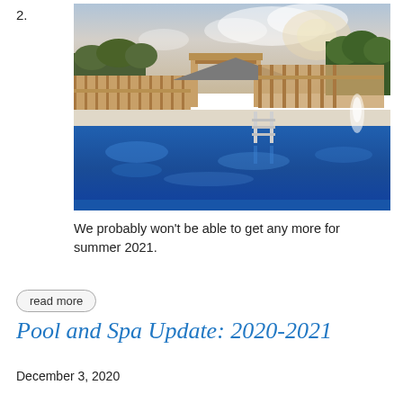2.
[Figure (photo): Outdoor swimming pool with blue water, a pergola structure in the background, and a fountain on the right side. A wood-framed structure under construction is visible behind the pool.]
We probably won't be able to get any more for summer 2021.
read more
Pool and Spa Update: 2020-2021
December 3, 2020